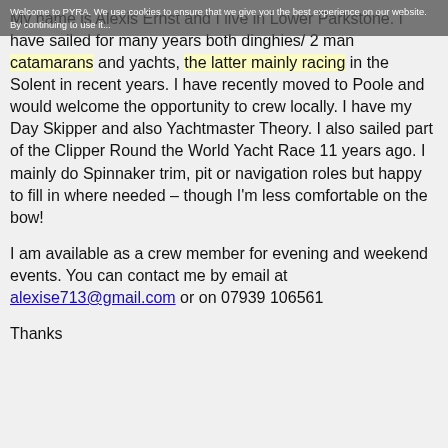Welcome to PYRA. We use cookies to ensure that we give you the best experience on our website. By continuing to use it...
My name is Alexis Ernst and I live in Lower Parkstone. I have sailed for many years both dinghies/ 2 man catamarans and yachts, the latter mainly racing in the Solent in recent years. I have recently moved to Poole and would welcome the opportunity to crew locally. I have my Day Skipper and also Yachtmaster Theory. I also sailed part of the Clipper Round the World Yacht Race 11 years ago. I mainly do Spinnaker trim, pit or navigation roles but happy to fill in where needed – though I'm less comfortable on the bow!
I am available as a crew member for evening and weekend events. You can contact me by email at alexise713@gmail.com or on 07939 106561
Thanks